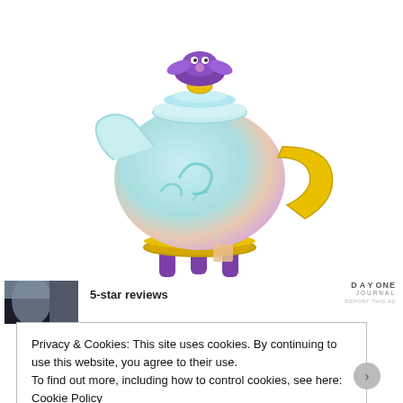[Figure (illustration): 3D rendered image of a decorative teapot with a teal/mint body decorated with swirl patterns, a gold handle and lid knob, purple creature/frog sitting on top, tea bag hanging from spout, sitting on a gold and purple stand.]
[Figure (photo): Small thumbnail image for advertisement showing a person, part of a Day One Journal ad banner.]
5-star reviews
DAY ONE
JOURNAL
REPORT THIS AD
Privacy & Cookies: This site uses cookies. By continuing to use this website, you agree to their use.
To find out more, including how to control cookies, see here: Cookie Policy
Close and accept